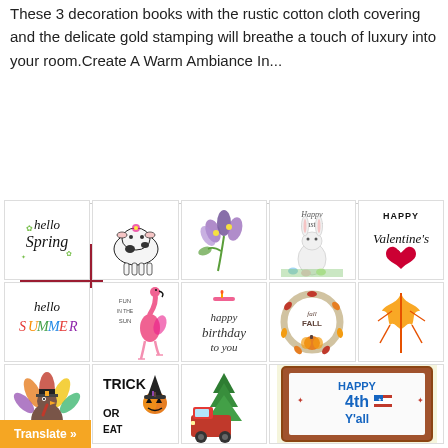These 3 decoration books with the rustic cotton cloth covering and the delicate gold stamping will breathe a touch of luxury into your room.Create A Warm Ambiance In...
READ MORE
[Figure (photo): Grid of seasonal and holiday decorative art cards including hello spring, cow, flowers, Happy Easter bunny, Happy Valentine's Day, hello summer, flamingo, happy birthday, Fall Sweet Fall, yellow leaf, turkey, trick or treat, red truck with Christmas tree, and Happy 4th Y'all with American flag framed sign.]
Translate »